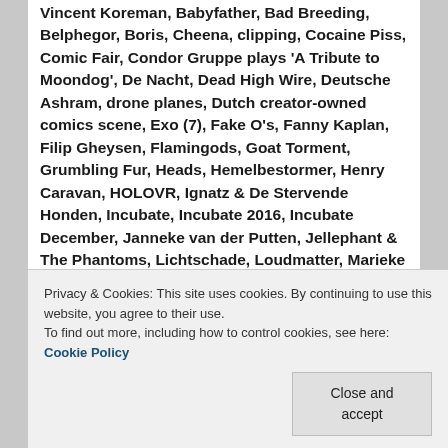Vincent Koreman, Babyfather, Bad Breeding, Belphegor, Boris, Cheena, clipping, Cocaine Piss, Comic Fair, Condor Gruppe plays 'A Tribute to Moondog', De Nacht, Dead High Wire, Deutsche Ashram, drone planes, Dutch creator-owned comics scene, Exo (7), Fake O's, Fanny Kaplan, Filip Gheysen, Flamingods, Goat Torment, Grumbling Fur, Heads, Hemelbestormer, Henry Caravan, HOLOVR, Ignatz & De Stervende Honden, Incubate, Incubate 2016, Incubate December, Janneke van der Putten, Jellephant & The Phantoms, Lichtschade, Loudmatter, Marieke Verbiesen, Menhir, Mia Zabelka, Michael Nau, MNHM, Molino, Monodeer, Monoliths, Nefast, Oathbreaker, Ohhms, Okkultokrati, OOBE, Oozing Wound, Optical Machines, Orson Hentschel, Ortega, Pearl River Sound, Pole Dancing Contest, Possessed,
Privacy & Cookies: This site uses cookies. By continuing to use this website, you agree to their use. To find out more, including how to control cookies, see here: Cookie Policy
Close and accept